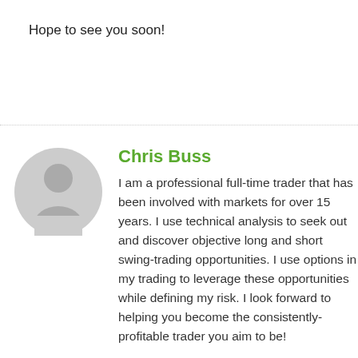Hope to see you soon!
[Figure (illustration): Generic user avatar placeholder — grey circle with silhouette of head and shoulders]
Chris Buss
I am a professional full-time trader that has been involved with markets for over 15 years. I use technical analysis to seek out and discover objective long and short swing-trading opportunities. I use options in my trading to leverage these opportunities while defining my risk. I look forward to helping you become the consistently-profitable trader you aim to be!